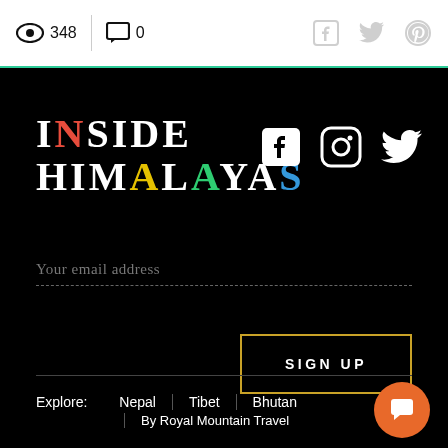348 views · 0 comments · social share icons
[Figure (logo): Inside Himalayas logo with colored letters on black background]
Your email address
SIGN UP
Explore: Nepal | Tibet | Bhutan | By Royal Mountain Travel